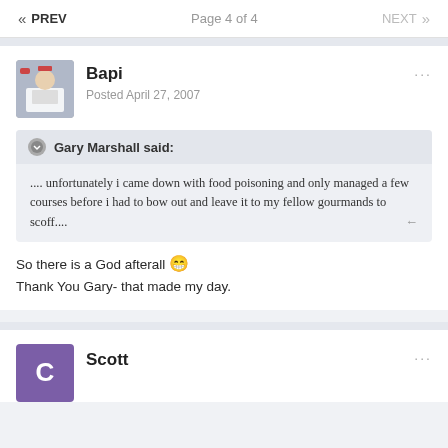« PREV    Page 4 of 4    NEXT »
Bapi
Posted April 27, 2007
Gary Marshall said:
.... unfortunately i came down with food poisoning and only managed a few courses before i had to bow out and leave it to my fellow gourmands to scoff....
So there is a God afterall 😁
Thank You Gary- that made my day.
Scott